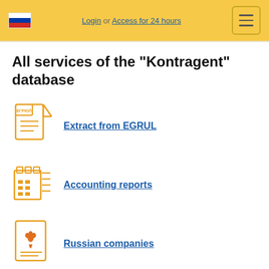Login or Access for 24 hours
All services of the "Kontragent" database
Extract from EGRUL
Accounting reports
Russian companies
Guarantees